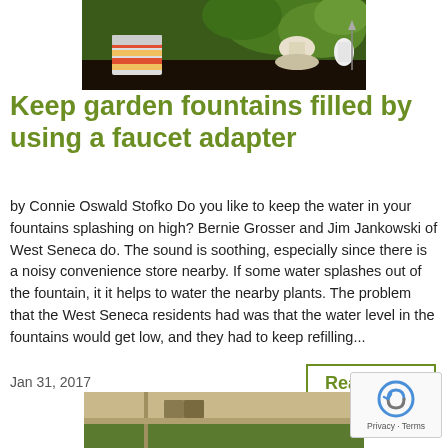[Figure (photo): Garden scene with fountain, chair with striped cushion, and lush green plants]
Keep garden fountains filled by using a faucet adapter
by Connie Oswald Stofko Do you like to keep the water in your fountains splashing on high? Bernie Grosser and Jim Jankowski of West Seneca do. The sound is soothing, especially since there is a noisy convenience store nearby. If some water splashes out of the fountain, it it helps to water the nearby plants. The problem that the West Seneca residents had was that the water level in the fountains would get low, and they had to keep refilling...
Jan 31, 2017
Read More
[Figure (photo): Partial view of a building or pergola structure with garden in background]